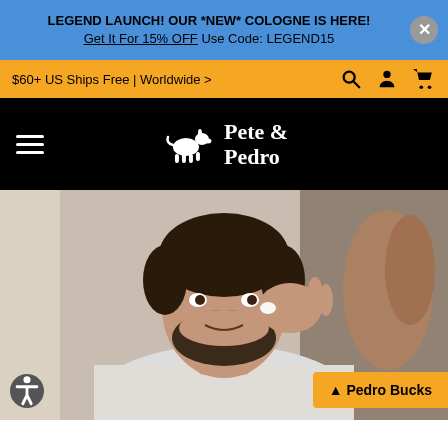LEGEND LAUNCH! OUR *NEW* COLOGNE IS HERE! Get It For 15% OFF. Use Code: LEGEND15
$60+ US Ships Free | Worldwide >
[Figure (logo): Pete & Pedro brand logo with donkey icon on black background]
[Figure (photo): Man applying face cream while looking in mirror, wearing white t-shirt]
Pedro Bucks